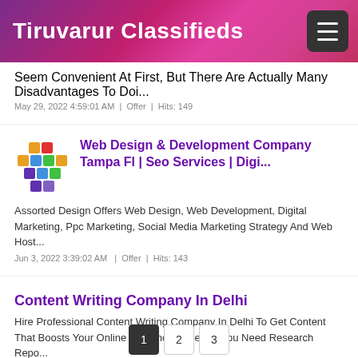Tiruvarur Classifieds
Seem Convenient At First, But There Are Actually Many Disadvantages To Doi...
May 29, 2022 4:59:01 AM  |  Offer  |  Hits: 149
Web Design & Development Company Tampa Fl | Seo Services | Digi...
Assorted Design Offers Web Design, Web Development, Digital Marketing, Ppc Marketing, Social Media Marketing Strategy And Web Host...
Jun 3, 2022 3:39:02 AM  |  Offer  |  Hits: 143
Content Writing Company In Delhi
Hire Professional Content Writing Company In Delhi To Get Content That Boosts Your Online Presence. Whether You Need Research Repo...
Jun 3, 2022 1:17:53 PM  |  Offer  |  Hits: 149